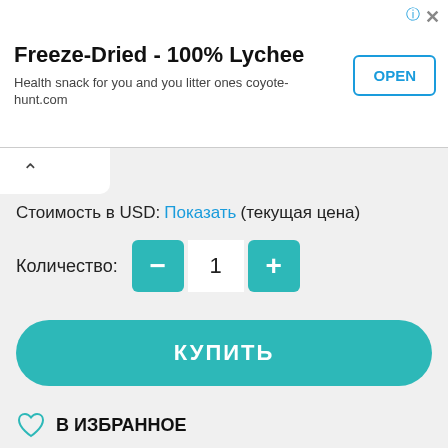[Figure (screenshot): Advertisement banner: Freeze-Dried 100% Lychee health snack ad with OPEN button]
Freeze-Dried - 100% Lychee
Health snack for you and you litter ones coyote-hunt.com
Стоимость в USD: Показать (текущая цена)
Количество: − 1 +
КУПИТЬ
В ИЗБРАННОЕ
[Figure (screenshot): Advertisement banner with shark underwater scene labeled РЕКЛАМА • 18+]